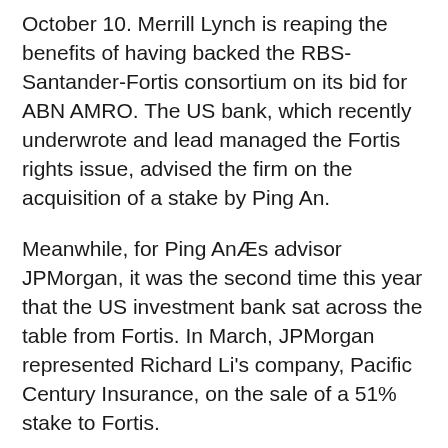October 10. Merrill Lynch is reaping the benefits of having backed the RBS-Santander-Fortis consortium on its bid for ABN AMRO. The US bank, which recently underwrote and lead managed the Fortis rights issue, advised the firm on the acquisition of a stake by Ping An.
Meanwhile, for Ping AnÆs advisor JPMorgan, it was the second time this year that the US investment bank sat across the table from Fortis. In March, JPMorgan represented Richard Li's company, Pacific Century Insurance, on the sale of a 51% stake to Fortis.
Ping An becomes the largest shareholder in Fortis via the share acquisition. Significantly, and in contrast to the other outbound financial institution deals from China, Ping AnÆs investment does not enrich FortisÆs coffers